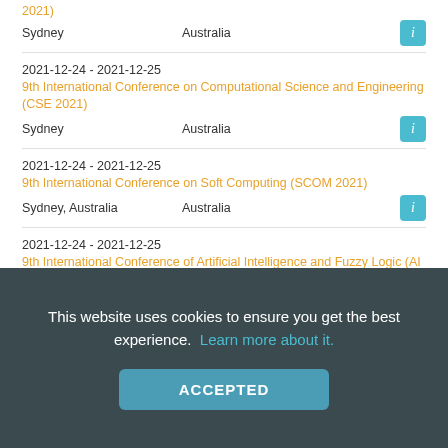2021)
Sydney   Australia
2021-12-24 - 2021-12-25
9th International Conference on Computational Science and Engineering (CSE 2021)
Sydney   Australia
2021-12-24 - 2021-12-25
9th International Conference on Soft Computing (SCOM 2021)
Sydney, Australia   Australia
2021-12-24 - 2021-12-25
9th International Conference of Artificial Intelligence and Fuzzy Logic (AI & FL 2021)
Sydney   Australia
This website uses cookies to ensure you get the best experience. Learn more about it.
ACCEPTED